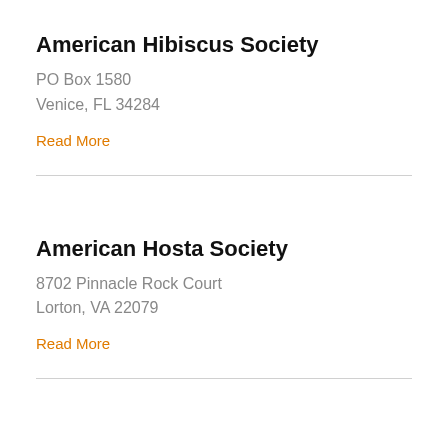American Hibiscus Society
PO Box 1580
Venice, FL 34284
Read More
American Hosta Society
8702 Pinnacle Rock Court
Lorton, VA 22079
Read More